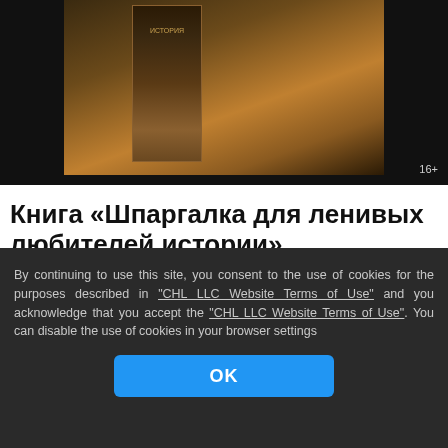[Figure (screenshot): Mobile app screenshot showing a book cover for 'История' with book and candle/ink imagery, and two app store icons at the bottom, with age rating 16+]
Книга «Шпаргалка для ленивых любителей истории»
Реклама • 16+
itunes.apple.com
Partners
By continuing to use this site, you consent to the use of cookies for the purposes described in "CHL LLC Website Terms of Use" and you acknowledge that you accept the "CHL LLC Website Terms of Use". You can disable the use of cookies in your browser settings
OK